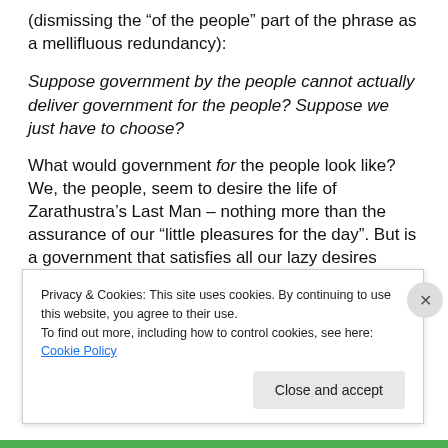(dismissing the “of the people” part of the phrase as a mellifluous redundancy):
Suppose government by the people cannot actually deliver government for the people? Suppose we just have to choose?
What would government for the people look like? We, the people, seem to desire the life of Zarathustra’s Last Man – nothing more than the assurance of our “little pleasures for the day”. But is a government that satisfies all our lazy desires really governing for us?
Privacy & Cookies: This site uses cookies. By continuing to use this website, you agree to their use.
To find out more, including how to control cookies, see here: Cookie Policy